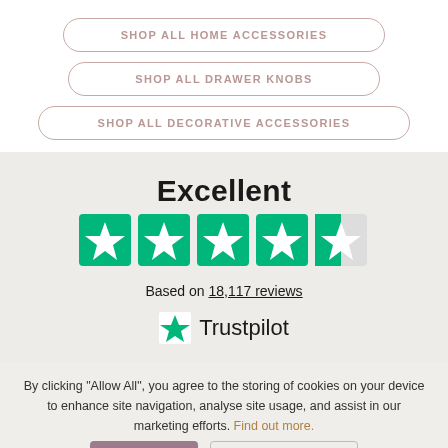SHOP ALL HOME ACCESSORIES
SHOP ALL DRAWER KNOBS
SHOP ALL DECORATIVE ACCESSORIES
Excellent
[Figure (other): Trustpilot 4.5 star rating — five stars, last one half-filled, green color]
Based on 18,117 reviews
[Figure (logo): Trustpilot logo with green star and text Trustpilot]
By clicking "Allow All", you agree to the storing of cookies on your device to enhance site navigation, analyse site usage, and assist in our marketing efforts. Find out more.
Allow All
Manage Cookies